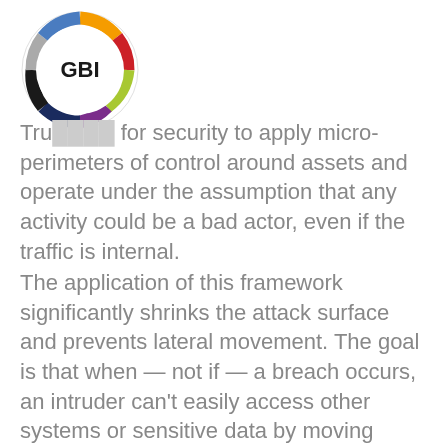[Figure (logo): GBI circular logo with multicolored ring segments (orange, red, green-yellow, purple, dark navy, black, grey, blue) surrounding a white circle with bold black text 'GBI' in the center]
Tru… for security to apply micro-perimeters of control around assets and operate under the assumption that any activity could be a bad actor, even if the traffic is internal.
The application of this framework significantly shrinks the attack surface and prevents lateral movement. The goal is that when — not if — a breach occurs, an intruder can't easily access other systems or sensitive data by moving laterally. Microsegmentation technology makes it much easier to apply the